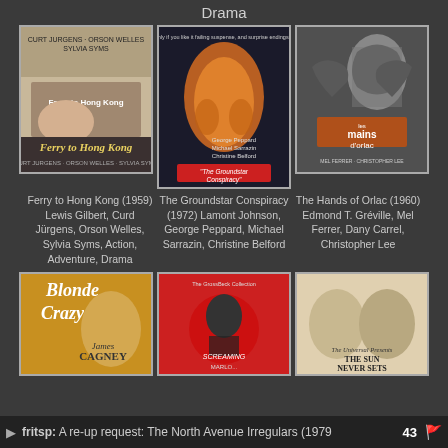Drama
[Figure (photo): Movie poster: Ferry to Hong Kong (1959) - classic film poster with Curt Jurgens, Orson Welles, Sylvia Syms]
[Figure (photo): Movie poster: The Groundstar Conspiracy (1972) - action film poster with George Peppard, Michael Sarrazin, Christine Belford, fire/explosion imagery]
[Figure (photo): Movie poster: The Hands of Orlac (1960) - black and white thriller poster with Les Mains d'Orlac title]
Ferry to Hong Kong (1959) Lewis Gilbert, Curd Jürgens, Orson Welles, Sylvia Syms, Action, Adventure, Drama
The Groundstar Conspiracy (1972) Lamont Johnson, George Peppard, Michael Sarrazin, Christine Belford
The Hands of Orlac (1960) Edmond T. Gréville, Mel Ferrer, Dany Carrel, Christopher Lee
[Figure (photo): Movie poster: Blonde Crazy - James Cagney film poster]
[Figure (photo): Movie poster: Screaming - The Greasback Collection]
[Figure (photo): Movie poster: The Sun Never Sets]
fritsp: A re-up request: The North Avenue Irregulars (1979   43